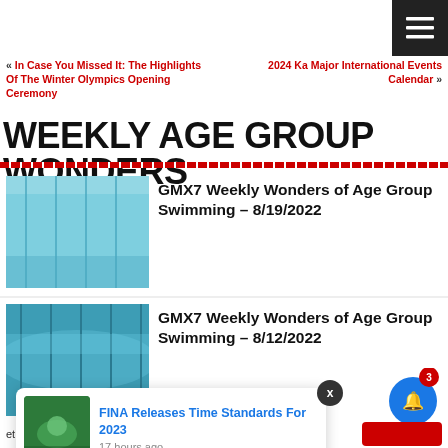☰ menu button
« In Case You Missed It: The Highlights Of The Winter Olympics Opening Ceremony
2024 Ka Major International Events Calendar »
WEEKLY AGE GROUP WONDERS
[Figure (photo): Swimming pool lane lines from above, blue water]
GMX7 Weekly Wonders of Age Group Swimming – 8/19/2022
[Figure (photo): Underwater swimming pool view, blue tones]
GMX7 Weekly Wonders of Age Group Swimming – 8/12/2022
[Figure (photo): Swimmer in green cap at competition]
FINA Releases Time Standards For 2023
17 hours ago
et the best experience on our website.